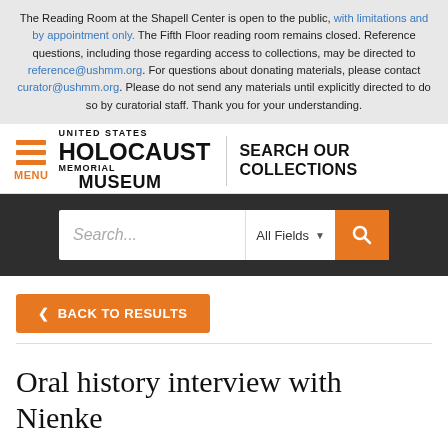The Reading Room at the Shapell Center is open to the public, with limitations and by appointment only. The Fifth Floor reading room remains closed. Reference questions, including those regarding access to collections, may be directed to reference@ushmm.org. For questions about donating materials, please contact curator@ushmm.org. Please do not send any materials until explicitly directed to do so by curatorial staff. Thank you for your understanding.
[Figure (logo): United States Holocaust Memorial Museum logo with hamburger menu and SEARCH OUR COLLECTIONS text]
[Figure (screenshot): Search bar with placeholder 'Search...', 'All Fields' dropdown, and orange search button]
< BACK TO RESULTS
Oral history interview with Nienke